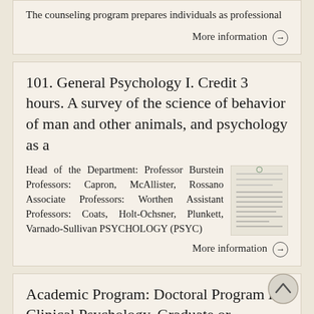The counseling program prepares individuals as professional
More information →
101. General Psychology I. Credit 3 hours. A survey of the science of behavior of man and other animals, and psychology as a
Head of the Department: Professor Burstein Professors: Capron, McAllister, Rossano Associate Professors: Worthen Assistant Professors: Coats, Holt-Ochsner, Plunkett, Varnado-Sullivan PSYCHOLOGY (PSYC)
[Figure (other): Thumbnail image of a document page]
More information →
Academic Program: Doctoral Program in Clinical Psychology. Graduate or Undergraduate: Graduate Date: October